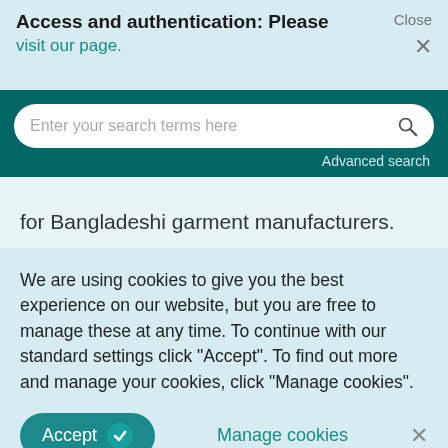Access and authentication: Please visit our page.
Close ×
Enter your search terms here
Advanced search
for Bangladeshi garment manufacturers.
We are using cookies to give you the best experience on our website, but you are free to manage these at any time. To continue with our standard settings click "Accept". To find out more and manage your cookies, click "Manage cookies".
Accept ✓   Manage cookies   ×
Fibre Agreement (MFA) that was in force from 1974 to 2004. Bangladesh had no quota restriction until